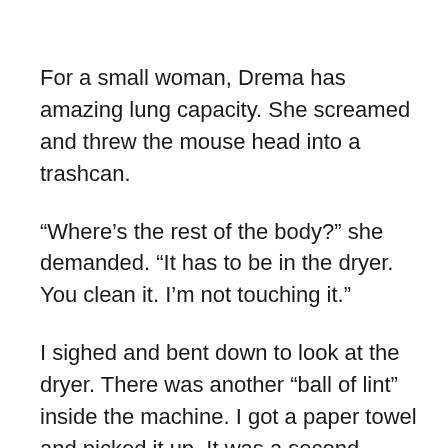For a small woman, Drema has amazing lung capacity. She screamed and threw the mouse head into a trashcan.
“Where’s the rest of the body?” she demanded. “It has to be in the dryer. You clean it. I’m not touching it.”
I sighed and bent down to look at the dryer. There was another “ball of lint” inside the machine. I got a paper towel and picked it up. It was a second mouse head. I threw it away and looked again. Try as I might, I couldn’t find any bodies.